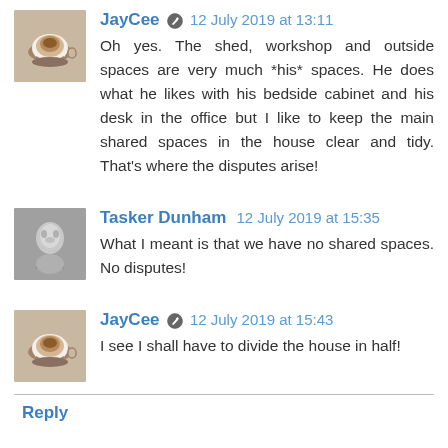JayCee ✏ 12 July 2019 at 13:11 — Oh yes. The shed, workshop and outside spaces are very much *his* spaces. He does what he likes with his bedside cabinet and his desk in the office but I like to keep the main shared spaces in the house clear and tidy. That's where the disputes arise!
Tasker Dunham 12 July 2019 at 15:35 — What I meant is that we have no shared spaces. No disputes!
JayCee ✏ 12 July 2019 at 15:43 — I see I shall have to divide the house in half!
Reply